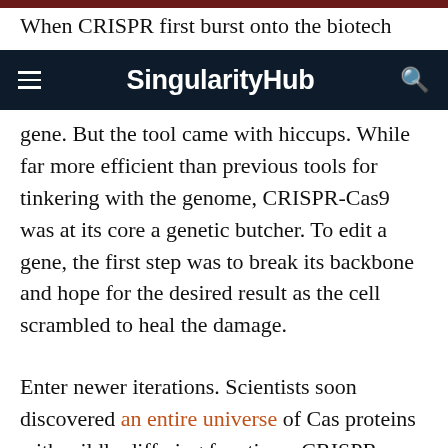When CRISPR first burst onto the biotech
SingularityHub
gene. But the tool came with hiccups. While far more efficient than previous tools for tinkering with the genome, CRISPR-Cas9 was at its core a genetic butcher. To edit a gene, the first step was to break its backbone and hope for the desired result as the cell scrambled to heal the damage.
Enter newer iterations. Scientists soon discovered an entire universe of Cas proteins with wildly differing functions. CRISPR rapidly gained new abilities, going from a pair of sharp scissors to a Swiss Army knife capable of a